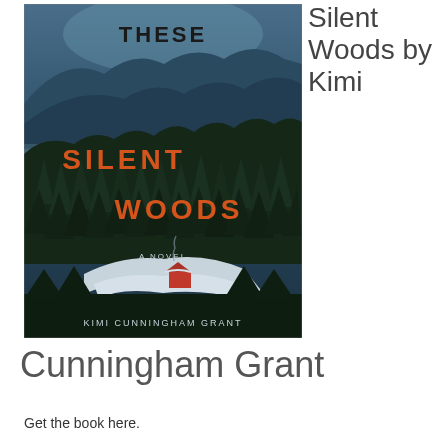[Figure (illustration): Book cover of 'These Silent Woods' by Kimi Cunningham Grant. Dark aerial photograph of snow-covered forest with mountains in background, a small red cabin visible near bottom center. Title text 'THESE SILENT WOODS' in orange letters on the cover, subtitle 'A NOVEL', and author name 'KIMI CUNNINGHAM GRANT' at the bottom.]
These Silent Woods by Kimi Cunningham Grant
Get the book here.